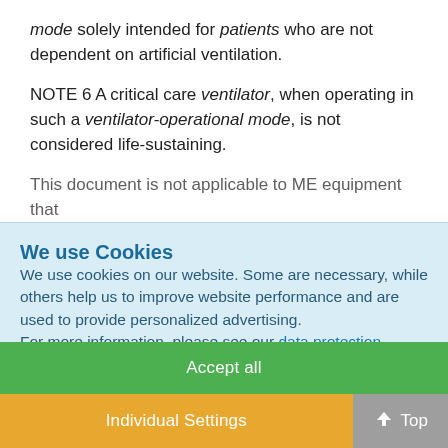mode solely intended for patients who are not dependent on artificial ventilation.
NOTE 6 A critical care ventilator, when operating in such a ventilator-operational mode, is not considered life-sustaining.
This document is not applicable to ME equipment that...
We use Cookies
We use cookies on our website. Some are necessary, while others help us to improve website performance and are used to provide personalized advertising. For more information, please see our data protection policy.